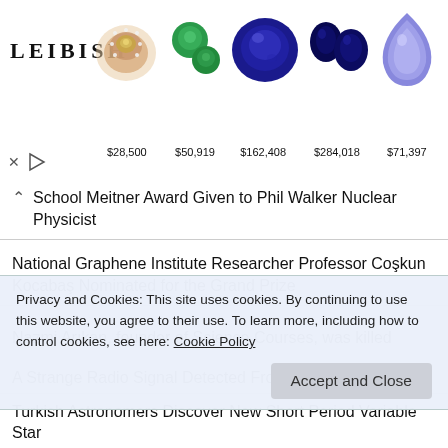[Figure (advertisement): Leibish jewelry/gemstone advertisement showing a rose gold diamond ring, green emeralds, large blue sapphire, dark blue oval sapphire, dark blue oval sapphire, and light blue teardrop tanzanite with prices $28,500, $50,919, $162,408, $284,018, $71,397]
School Meitner Award Given to Phil Walker Nuclear Physicist
National Graphene Institute Researcher Professor Coşkun Kocabaş Nominated for the Grand Prize
Nazmi Arıkan, founder of Science Courses, was killed
A Strange Radio Signal Detected From Deep Space
Burak Özpineci Was Deserved of the Nagamori Award
First Color Photo of the James Webb Telescope Released
Privacy and Cookies: This site uses cookies. By continuing to use this website, you agree to their use. To learn more, including how to control cookies, see here: Cookie Policy
Turkish Astronomers Discover New Short Period Variable Star